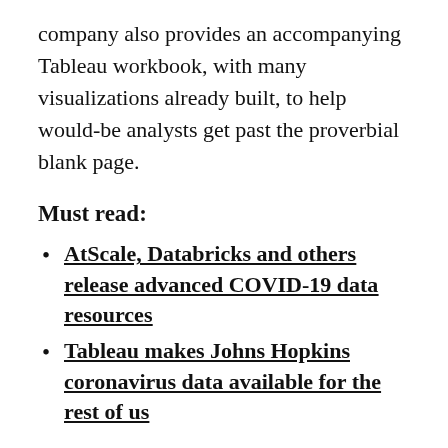company also provides an accompanying Tableau workbook, with many visualizations already built, to help would-be analysts get past the proverbial blank page.
Must read:
AtScale, Databricks and others release advanced COVID-19 data resources
Tableau makes Johns Hopkins coronavirus data available for the rest of us
Start off simple, add sophistication iteratively
I connected with the data model myself, from Power BI Desktop, in order to become more